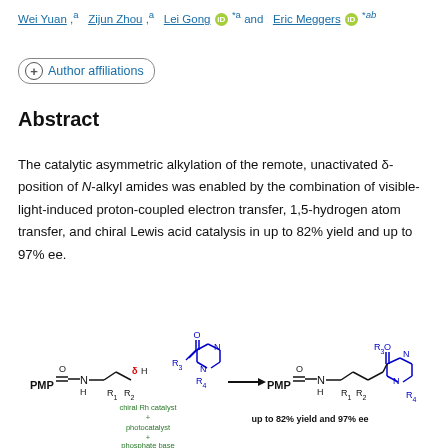Wei Yuan ,a  Zijun Zhou ,a  Lei Gong [iD] *a and  Eric Meggers [iD] *ab
+ Author affiliations
Abstract
The catalytic asymmetric alkylation of the remote, unactivated δ-position of N-alkyl amides was enabled by the combination of visible-light-induced proton-coupled electron transfer, 1,5-hydrogen atom transfer, and chiral Lewis acid catalysis in up to 82% yield and up to 97% ee.
[Figure (chemistry-diagram): Reaction scheme showing acylimidazole substrate and PMP-amide substrate reacting via chiral Rh catalyst, photocatalyst, and phosphate base to give alkylated product. Labels: R1, R2, R3, R4 substituents; delta-H for remote C-H position; PMP group; up to 82% yield and 97% ee shown for the product.]